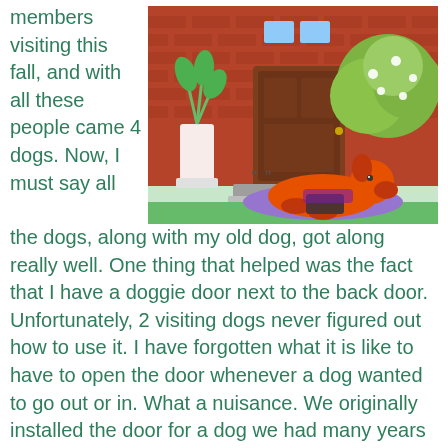members visiting this fall, and with all these people came 4 dogs. Now, I must say all
[Figure (illustration): Cartoon illustration of a dog lying on a purple mat/cushion in front of a brown house door, with a potted plant and a green bush nearby.]
the dogs, along with my old dog, got along really well. One thing that helped was the fact that I have a doggie door next to the back door. Unfortunately, 2 visiting dogs never figured out how to use it. I have forgotten what it is like to have to open the door whenever a dog wanted to go out or in. What a nuisance. We originally installed the door for a dog we had many years ago. We were both working and the dog, Phoebe, was afraid of thunderstorms. The